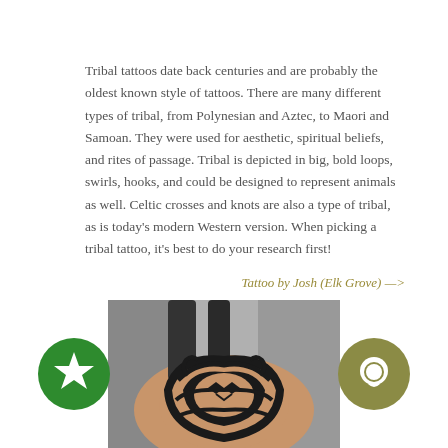Tribal tattoos date back centuries and are probably the oldest known style of tattoos. There are many different types of tribal, from Polynesian and Aztec, to Maori and Samoan. They were used for aesthetic, spiritual beliefs, and rites of passage. Tribal is depicted in big, bold loops, swirls, hooks, and could be designed to represent animals as well. Celtic crosses and knots are also a type of tribal, as is today's modern Western version. When picking a tribal tattoo, it's best to do your research first!
Tattoo by Josh (Elk Grove) —>
[Figure (photo): Photo of a tribal tattoo on a person's shoulder/upper arm, showing bold black Polynesian/Samoan style patterns]